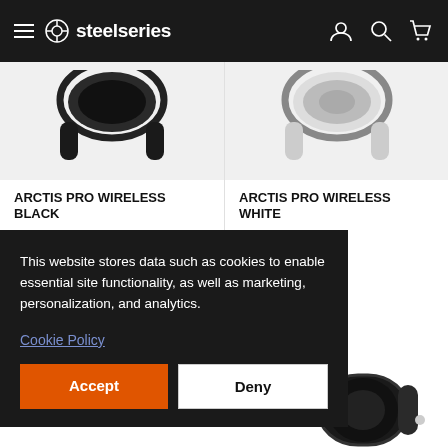SteelSeries navigation bar with hamburger menu, logo, search, account, and cart icons
[Figure (photo): Product image of Arctis Pro Wireless Black headset on light gray background (partially cropped at top)]
ARCTIS PRO WIRELESS BLACK
$349,99
[Figure (photo): Product image of Arctis Pro Wireless White headset on light gray background (partially cropped at top)]
ARCTIS PRO WIRELESS WHITE
$349,99
This website stores data such as cookies to enable essential site functionality, as well as marketing, personalization, and analytics.
Cookie Policy
Accept
Deny
[Figure (photo): Partial view of a black gaming headset at the bottom right of the page]